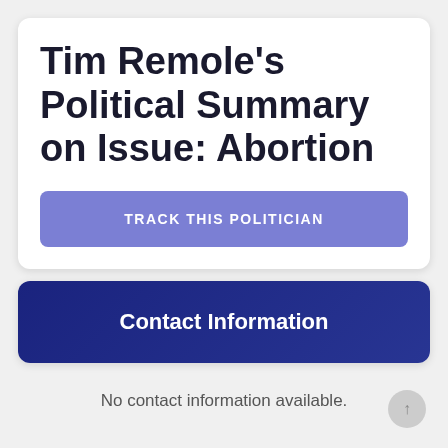Tim Remole’s Political Summary on Issue: Abortion
TRACK THIS POLITICIAN
Contact Information
No contact information available.